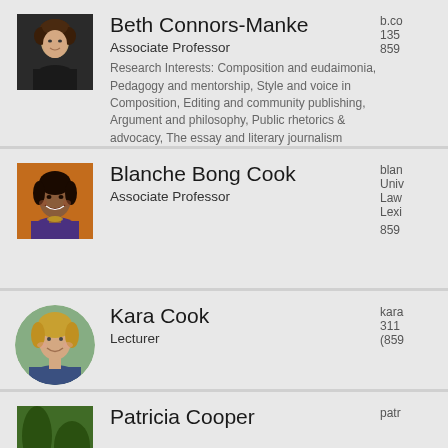[Figure (photo): Headshot of Beth Connors-Manke, woman with curly hair, dark top, outdoor background]
Beth Connors-Manke
Associate Professor
Research Interests: Composition and eudaimonia, Pedagogy and mentorship, Style and voice in Composition, Editing and community publishing, Argument and philosophy, Public rhetorics & advocacy, The essay and literary journalism
b.co
135
859
[Figure (photo): Headshot of Blanche Bong Cook, smiling woman, colorful top, warm background]
Blanche Bong Cook
Associate Professor
blan
Univ
Law
Lexi
859
[Figure (photo): Circular headshot of Kara Cook, smiling woman with light hair, outdoor background]
Kara Cook
Lecturer
kara
311
(859
[Figure (photo): Partial headshot of Patricia Cooper, outdoor/nature background]
Patricia Cooper
patr